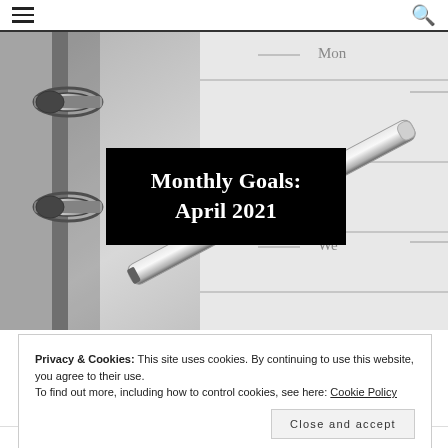☰  🔍
[Figure (photo): Black and white close-up photo of a ring binder planner with a pen resting on it. The planner shows days of the week including 'Mon' and 'We' (Wednesday) partially visible. The binder rings are visible on the left side.]
Monthly Goals: April 2021
Privacy & Cookies: This site uses cookies. By continuing to use this website, you agree to their use.
To find out more, including how to control cookies, see here: Cookie Policy
Close and accept